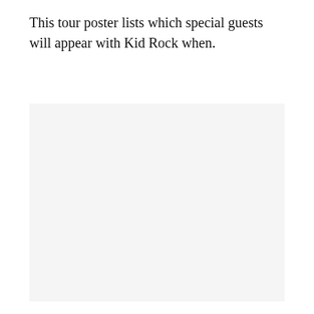This tour poster lists which special guests will appear with Kid Rock when.
[Figure (photo): A large light gray rectangular area representing a tour poster image placeholder.]